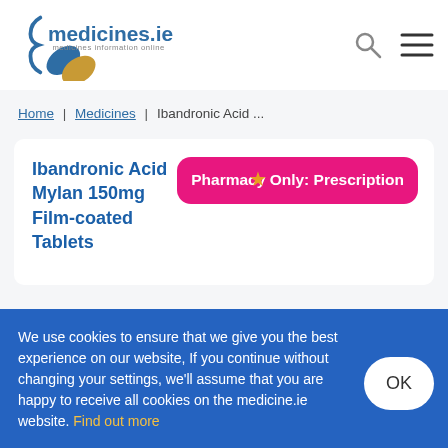medicines.ie — medicines information online
Home | Medicines | Ibandronic Acid ...
Ibandronic Acid Mylan 150mg Film-coated Tablets
Pharmacy Only: Prescription
We use cookies to ensure that we give you the best experience on our website, If you continue without changing your settings, we'll assume that you are happy to receive all cookies on the medicine.ie website. Find out more